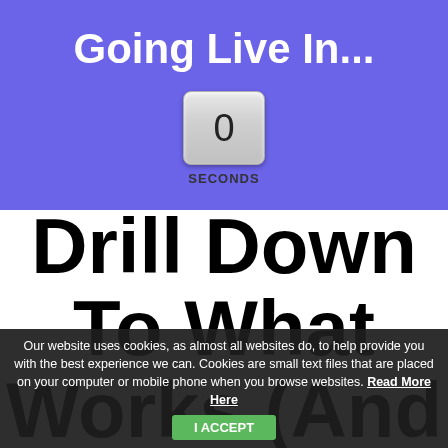Going Live In...
[Figure (other): Countdown timer showing 0 SECONDS in a rounded rectangle box with gradient background]
Drill Down To What Works (And Throw Out The...
Our website uses cookies, as almost all websites do, to help provide you with the best experience we can. Cookies are small text files that are placed on your computer or mobile phone when you browse websites. Read More Here
I ACCEPT